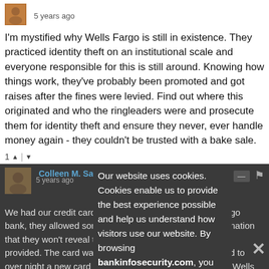[Figure (photo): Small user avatar thumbnail, approximately 36x36px, brownish tones]
5 years ago
I'm mystified why Wells Fargo is still in existence. They practiced identity theft on an institutional scale and everyone responsible for this is still around. Knowing how things work, they've probably been promoted and got raises after the fines were levied. Find out where this originated and who the ringleaders were and prosecute them for identity theft and ensure they never, ever handle money again - they couldn't be trusted with a bake sale.
1 ↑ | ↓ Reply
[Figure (photo): Second user avatar thumbnail, approximately 44x44px, brownish tones]
Colleen M. Salazar
5 years ago
We had our credit card information stolen from Wells Fargo bank, they allowed someone to phone in give them information that they won't reveal to us about what information they provided. The card was canceled, Wells Fargo proceeded to over night a new card to an address in Mi. We live in Co. Wells Fargo didn't follow protocol with the alerts we had on our card. They transferred $4000.00 to the new card, so far after some phone calls, visits to our branch, dispute, charges still on our account. They refuse to give us any
Our website uses cookies. Cookies enable us to provide the best experience possible and help us understand how visitors use our website. By browsing bankinfosecurity.com, you agree to our use of cookies.